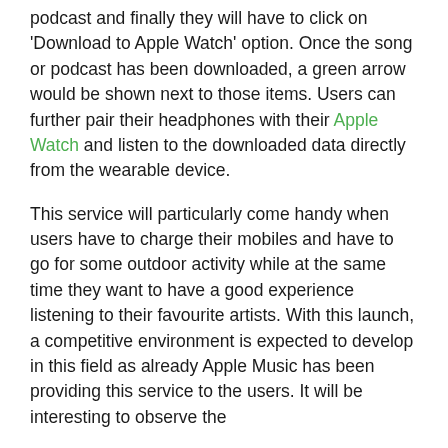podcast and finally they will have to click on 'Download to Apple Watch' option. Once the song or podcast has been downloaded, a green arrow would be shown next to those items. Users can further pair their headphones with their Apple Watch and listen to the downloaded data directly from the wearable device.
This service will particularly come handy when users have to charge their mobiles and have to go for some outdoor activity while at the same time they want to have a good experience listening to their favourite artists. With this launch, a competitive environment is expected to develop in this field as already Apple Music has been providing this service to the users. It will be interesting to observe the